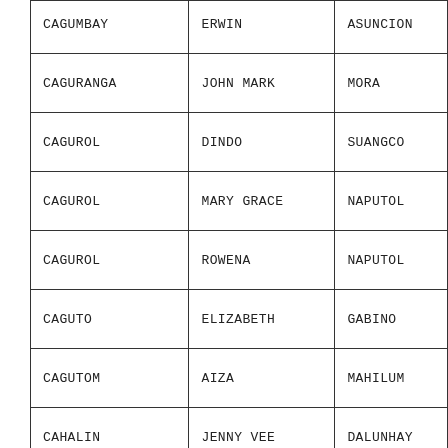| CAGUMBAY | ERWIN | ASUNCION |
| CAGURANGA | JOHN MARK | MORA |
| CAGUROL | DINDO | SUANGCO |
| CAGUROL | MARY GRACE | NAPUTOL |
| CAGUROL | ROWENA | NAPUTOL |
| CAGUTO | ELIZABETH | GABINO |
| CAGUTOM | AIZA | MAHILUM |
| CAHALIN | JENNY VEE | DALUNHAY |
| CAHAMBING | MIRO | DIZON |
| CAHANAP | RODELITO | LAVILLA |